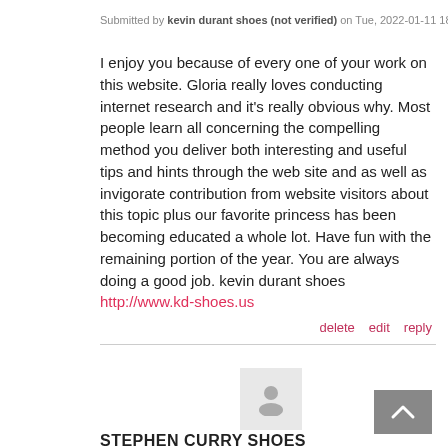Submitted by kevin durant shoes (not verified) on Tue, 2022-01-11 18:18
I enjoy you because of every one of your work on this website. Gloria really loves conducting internet research and it's really obvious why. Most people learn all concerning the compelling method you deliver both interesting and useful tips and hints through the web site and as well as invigorate contribution from website visitors about this topic plus our favorite princess has been becoming educated a whole lot. Have fun with the remaining portion of the year. You are always doing a good job. kevin durant shoes http://www.kd-shoes.us
delete edit reply
[Figure (illustration): Generic user avatar placeholder icon (silhouette of a person on a light gray background)]
[Figure (other): Gray scroll-to-top button with upward chevron arrow]
STEPHEN CURRY SHOES